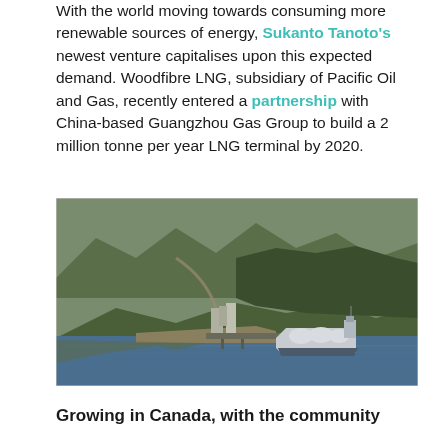With the world moving towards consuming more renewable sources of energy, Sukanto Tanoto's newest venture capitalises upon this expected demand. Woodfibre LNG, subsidiary of Pacific Oil and Gas, recently entered a partnership with China-based Guangzhou Gas Group to build a 2 million tonne per year LNG terminal by 2020.
[Figure (photo): Aerial rendering of an LNG terminal facility nestled in a forested mountainous area along a waterway, with an LNG tanker ship docked at the terminal.]
Growing in Canada, with the community